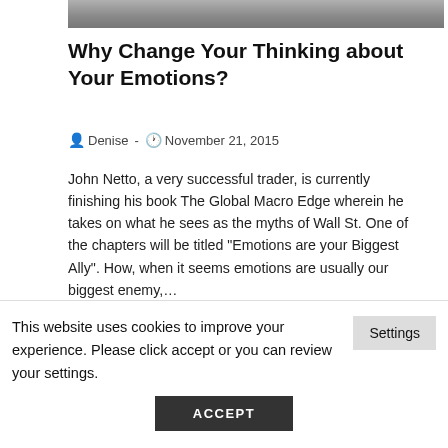[Figure (photo): Gray textured image bar at top of article (partial photo of keyboard/puzzle pieces)]
Why Change Your Thinking about Your Emotions?
Denise  -  November 21, 2015
John Netto, a very successful trader, is currently finishing his book The Global Macro Edge wherein he takes on what he sees as the myths of Wall St. One of the chapters will be titled "Emotions are your Biggest Ally". How, when it seems emotions are usually our biggest enemy,...
Continue Reading ›
This website uses cookies to improve your experience. Please click accept or you can review your settings.
Settings
ACCEPT